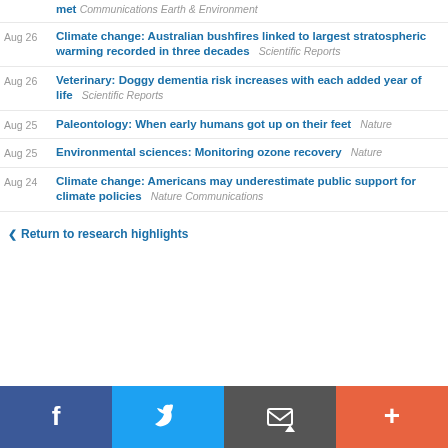Aug 26 | Climate change: Australian bushfires linked to largest stratospheric warming recorded in three decades | Scientific Reports
Aug 26 | Veterinary: Doggy dementia risk increases with each added year of life | Scientific Reports
Aug 25 | Paleontology: When early humans got up on their feet | Nature
Aug 25 | Environmental sciences: Monitoring ozone recovery | Nature
Aug 24 | Climate change: Americans may underestimate public support for climate policies | Nature Communications
Return to research highlights
[Figure (other): Social sharing bar with Facebook, Twitter, email, and plus buttons]